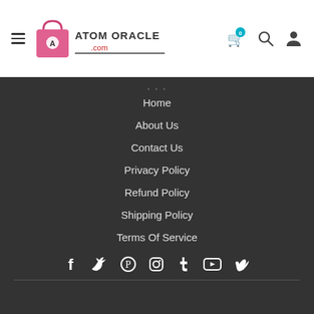[Figure (logo): Atom Oracle logo with pink shopping bag icon and text 'ATOM ORACLE .com']
Home
About Us
Contact Us
Privacy Policy
Refund Policy
Shipping Policy
Terms Of Service
[Figure (illustration): Social media icons row: Facebook, Twitter, Pinterest, Instagram, Tumblr, YouTube, Vimeo]